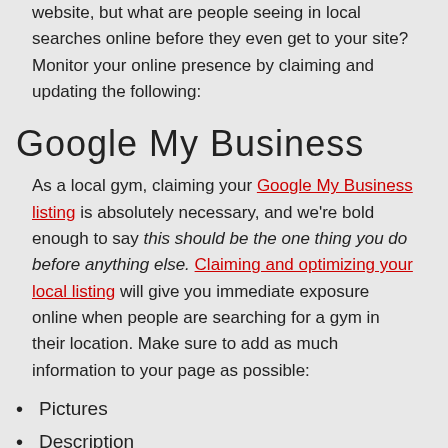website, but what are people seeing in local searches online before they even get to your site? Monitor your online presence by claiming and updating the following:
Google My Business
As a local gym, claiming your Google My Business listing is absolutely necessary, and we're bold enough to say this should be the one thing you do before anything else. Claiming and optimizing your local listing will give you immediate exposure online when people are searching for a gym in their location. Make sure to add as much information to your page as possible:
Pictures
Description
Hours
Address